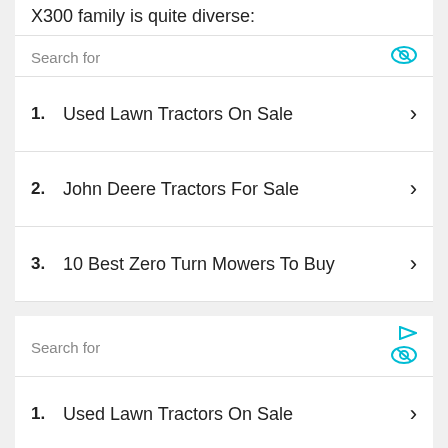X300 family is quite diverse:
Search for
1. Used Lawn Tractors On Sale
2. John Deere Tractors For Sale
3. 10 Best Zero Turn Mowers To Buy
Search for
1. Used Lawn Tractors On Sale
John Deere Tractors For